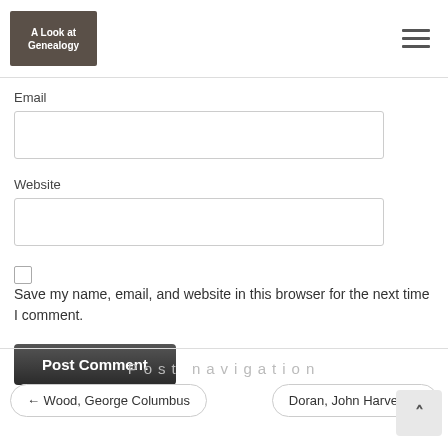A Look at Genealogy
Email
Website
Save my name, email, and website in this browser for the next time I comment.
Post Comment
Post navigation
← Wood, George Columbus
Doran, John Harvey →